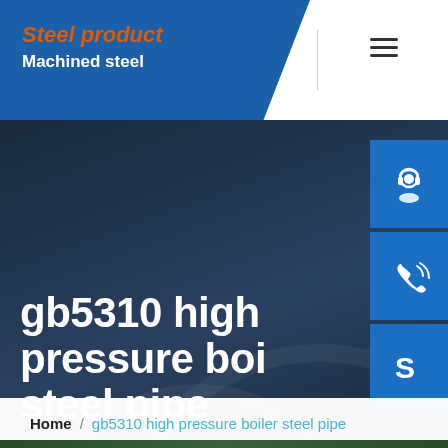Steel product / Machined steel
gb5310 high pressure boiler steel pipe
Home / gb5310 high pressure boiler steel pipe
[Figure (photo): Industrial steel pipes or machinery at the bottom of the page]